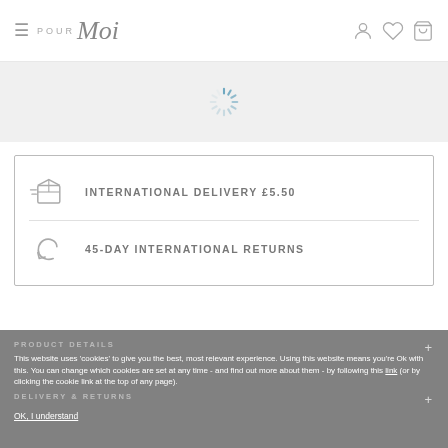Pour Moi — navigation header with hamburger menu and icons
[Figure (illustration): Loading spinner (animated radial lines) on light gray background]
INTERNATIONAL DELIVERY £5.50
45-DAY INTERNATIONAL RETURNS
PRODUCT DETAILS +
This website uses 'cookies' to give you the best, most relevant experience. Using this website means you're Ok with this. You can change which cookies are set at any time - and find out more about them - by following this link (or by clicking the cookie link at the top of any page).
DELIVERY & RETURNS +
OK, I understand